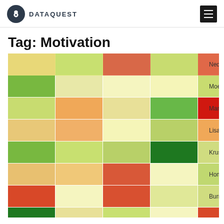DATAQUEST
Tag: Motivation
[Figure (other): Heatmap grid showing colored cells (red, orange, yellow, green) for characters Ned, Moe, Marge, Lisa, Krusty, Homer, Burns on the y-axis and various columns on the x-axis, representing motivation-related data.]